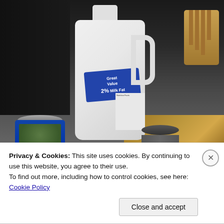[Figure (photo): Kitchen scene showing a Great Value 2% Milk Fat gallon jug on a counter near a stove, with two open cans (one appears to be canned peas with a blue label) in the foreground, and a wooden knife block visible in the upper right corner.]
Privacy & Cookies: This site uses cookies. By continuing to use this website, you agree to their use.
To find out more, including how to control cookies, see here: Cookie Policy
Close and accept